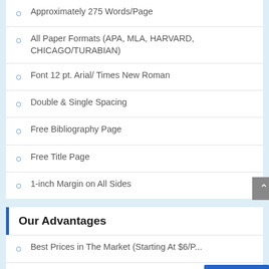Approximately 275 Words/Page
All Paper Formats (APA, MLA, HARVARD, CHICAGO/TURABIAN)
Font 12 pt. Arial/ Times New Roman
Double & Single Spacing
Free Bibliography Page
Free Title Page
1-inch Margin on All Sides
Our Advantages
Best Prices in The Market (Starting At $6/P...)
Delivery at Any Time (24/7)